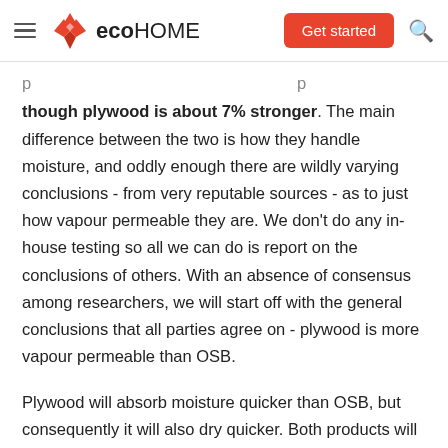eco HOME | Get started
though plywood is about 7% stronger. The main difference between the two is how they handle moisture, and oddly enough there are wildly varying conclusions - from very reputable sources - as to just how vapour permeable they are. We don't do any in-house testing so all we can do is report on the conclusions of others. With an absence of consensus among researchers, we will start off with the general conclusions that all parties agree on - plywood is more vapour permeable than OSB.
Plywood will absorb moisture quicker than OSB, but consequently it will also dry quicker. Both products will swell when wet, but plywood will return to almost its